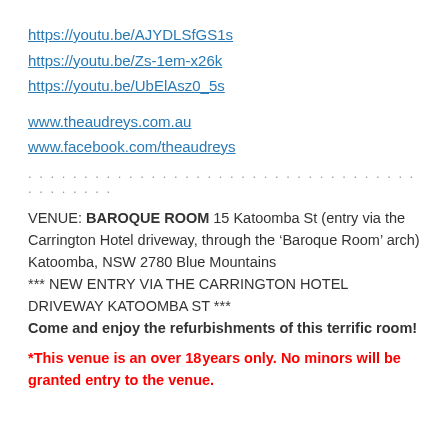https://youtu.be/AJYDLSfGS1s
https://youtu.be/Zs-1em-x26k
https://youtu.be/UbElAsz0_5s
www.theaudreys.com.au
www.facebook.com/theaudreys
. . . . . . . . . . . . . . . . . . . . . . . . . . . . . . . . . . . . . . . . . . .
VENUE: BAROQUE ROOM 15 Katoomba St (entry via the Carrington Hotel driveway, through the ‘Baroque Room’ arch) Katoomba, NSW 2780 Blue Mountains *** NEW ENTRY VIA THE CARRINGTON HOTEL DRIVEWAY KATOOMBA ST *** Come and enjoy the refurbishments of this terrific room!
*This venue is an over 18 years only. No minors will be granted entry to the venue.